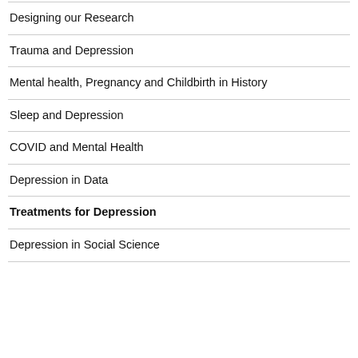Designing our Research
Trauma and Depression
Mental health, Pregnancy and Childbirth in History
Sleep and Depression
COVID and Mental Health
Depression in Data
Treatments for Depression
Depression in Social Science